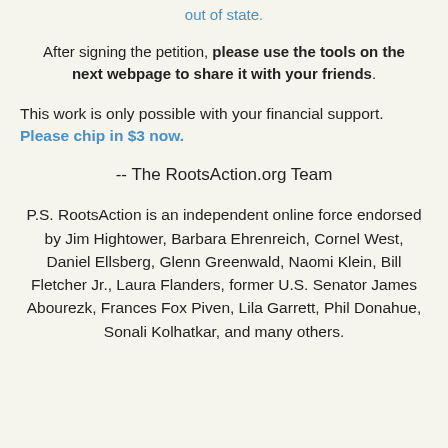out of state.
After signing the petition, please use the tools on the next webpage to share it with your friends.
This work is only possible with your financial support. Please chip in $3 now.
-- The RootsAction.org Team
P.S. RootsAction is an independent online force endorsed by Jim Hightower, Barbara Ehrenreich, Cornel West, Daniel Ellsberg, Glenn Greenwald, Naomi Klein, Bill Fletcher Jr., Laura Flanders, former U.S. Senator James Abourezk, Frances Fox Piven, Lila Garrett, Phil Donahue, Sonali Kolhatkar, and many others.